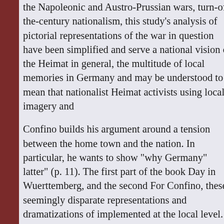the Napoleonic and Austro-Prussian wars, turn-of-the-century nationalism, this study's analysis of pictorial representations of the war in question have been simplified and serve a national vision of the Heimat in general, the multitude of local memories in Germany and may be understood to mean that nationalist Heimat activists using local imagery and
Confino builds his argument around a tension between the home town and the nation. In particular, he wants to show "why Germany" latter" (p. 11). The first part of the book Day in Wuerttemberg, and the second For Confino, these seemingly disparate representations and dramatizations of implemented at the local level. In one the book, Confino argues that it is mis- Prussian official culture. The military September 1871 coincided with Sedan Day was first and foremost a project of of local and regional politics (p. 31). drawn from the Prussian dynasty and different meanings than they had in other